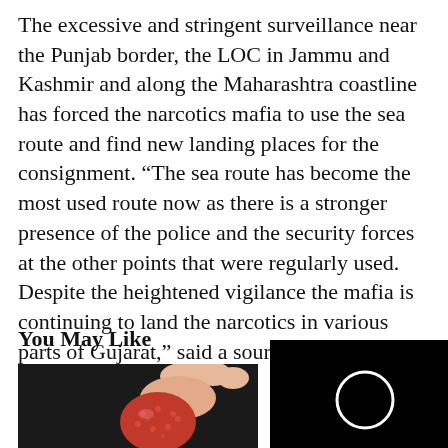The excessive and stringent surveillance near the Punjab border, the LOC in Jammu and Kashmir and along the Maharashtra coastline has forced the narcotics mafia to use the sea route and find new landing places for the consignment. “The sea route has become the most used route now as there is a stronger presence of the police and the security forces at the other points that were regularly used. Despite the heightened vigilance the mafia is continuing to land the narcotics in various parts of Gujarat,” said a source from DRI.
You May Like
[Figure (photo): A hand holding a red sugary candy/gummy against a dark background]
[Figure (screenshot): Black background with a white ring/circle shape, appears to be a video player with a close button marked x]